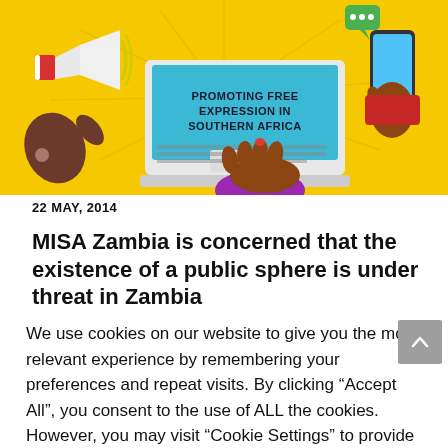[Figure (illustration): Colorful illustration on yellow background showing hands using a laptop with text 'PROMOTING FREE EXPRESSION IN SOUTHERN AFRICA' on screen, plus a megaphone and smartphone with speech bubble]
22 MAY, 2014
MISA Zambia is concerned that the existence of a public sphere is under threat in Zambia
We use cookies on our website to give you the most relevant experience by remembering your preferences and repeat visits. By clicking “Accept All”, you consent to the use of ALL the cookies. However, you may visit “Cookie Settings” to provide a controlled consent.